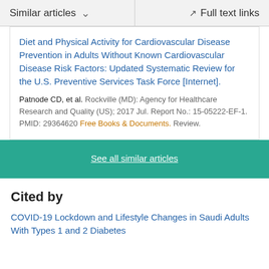Similar articles   Full text links
Diet and Physical Activity for Cardiovascular Disease Prevention in Adults Without Known Cardiovascular Disease Risk Factors: Updated Systematic Review for the U.S. Preventive Services Task Force [Internet].
Patnode CD, et al. Rockville (MD): Agency for Healthcare Research and Quality (US); 2017 Jul. Report No.: 15-05222-EF-1. PMID: 29364620 Free Books & Documents. Review.
See all similar articles
Cited by
COVID-19 Lockdown and Lifestyle Changes in Saudi Adults With Types 1 and 2 Diabetes